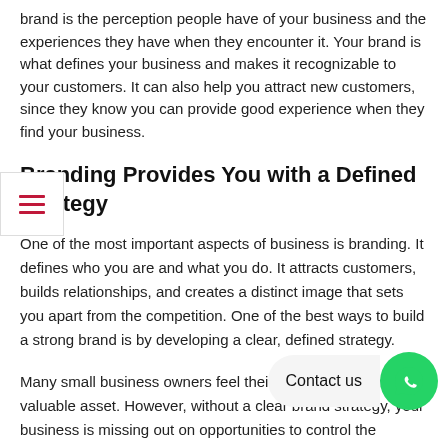brand is the perception people have of your business and the experiences they have when they encounter it. Your brand is what defines your business and makes it recognizable to your customers. It can also help you attract new customers, since they know you can provide good experience when they find your business.
Branding Provides You with a Defined Strategy
One of the most important aspects of business is branding. It defines who you are and what you do. It attracts customers, builds relationships, and creates a distinct image that sets you apart from the competition. One of the best ways to build a strong brand is by developing a clear, defined strategy.
Many small business owners feel their brands are their most valuable asset. However, without a clear brand strategy, your business is missing out on opportunities to control the perception your customers have of your business. Through branding, you can position your business as an expert in your field, build a